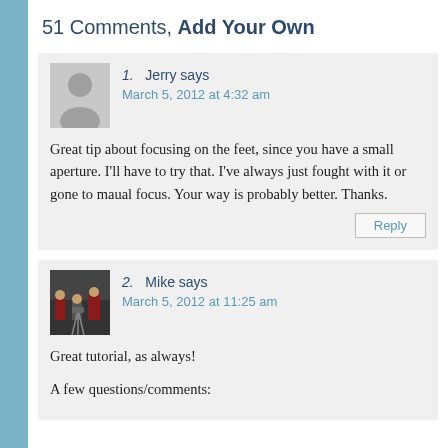51 Comments, Add Your Own
1. Jerry says
March 5, 2012 at 4:32 am

Great tip about focusing on the feet, since you have a small aperture. I'll have to try that. I've always just fought with it or gone to maual focus. Your way is probably better. Thanks.
2. Mike says
March 5, 2012 at 11:25 am

Great tutorial, as always!

A few questions/comments: